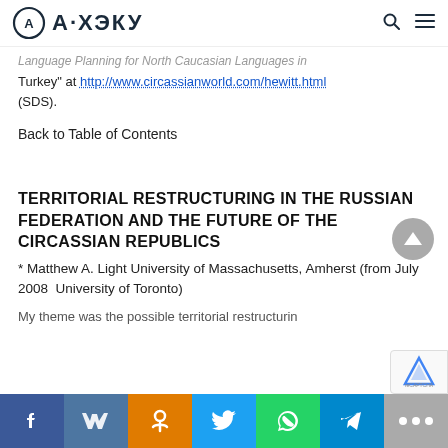А·ХЭКУ
Language Planning for North Caucasian Languages in Turkey" at http://www.circassianworld.com/hewitt.html (SDS).
Back to Table of Contents
TERRITORIAL RESTRUCTURING IN THE RUSSIAN FEDERATION AND THE FUTURE OF THE CIRCASSIAN REPUBLICS
* Matthew A. Light University of Massachusetts, Amherst (from July 2008  University of Toronto)
My theme was the possible territorial restructurin